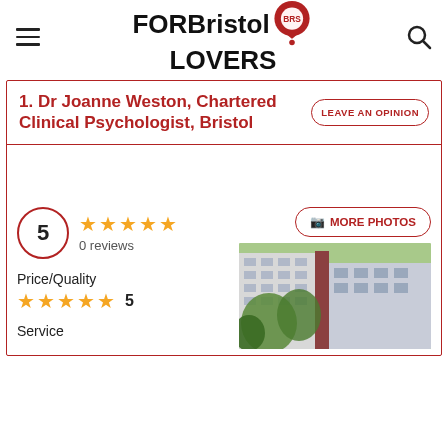FOR Bristol LOVERS
1. Dr Joanne Weston, Chartered Clinical Psychologist, Bristol
LEAVE AN OPINION
5
0 reviews
Price/Quality
5
Service
[Figure (photo): Exterior building photo showing a multi-storey building with green trees]
MORE PHOTOS